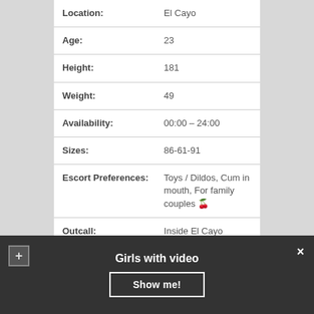| Field | Value |
| --- | --- |
| Location: | El Cayo |
| Age: | 23 |
| Height: | 181 |
| Weight: | 49 |
| Availability: | 00:00 – 24:00 |
| Sizes: | 86-61-91 |
| Escort Preferences: | Toys / Dildos, Cum in mouth, For family couples 🍒 |
| Outcall: | Inside El Cayo |
| 1H PRICE: | 110$ |
| Without condom: | 320$ |
Girls with video
Show me!